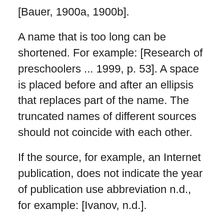[Bauer, 1900a, 1900b].
A name that is too long can be shortened. For example: [Research of preschoolers ... 1999, p. 53]. A space is placed before and after an ellipsis that replaces part of the name. The truncated names of different sources should not coincide with each other.
If the source, for example, an Internet publication, does not indicate the year of publication use abbreviation n.d., for example: [Ivanov, n.d.].
If the text is cited not from the original source, but from another document use [as cited in Ivanov, 2003, p. 17]. This type of